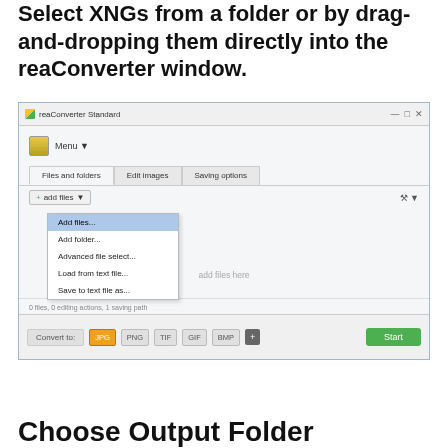Select XNGs from a folder or by drag-and-dropping them directly into the reaConverter window.
[Figure (screenshot): Screenshot of reaConverter Standard application window showing the 'add files' dropdown menu expanded with options: Add files..., Add folder..., Advanced file select..., Load from text file..., Save to text file as... The bottom bar shows Convert to: with format buttons JPG (selected/orange), PNG, TIF, GIF, BMP, + and a green Start button.]
Choose Output Folder